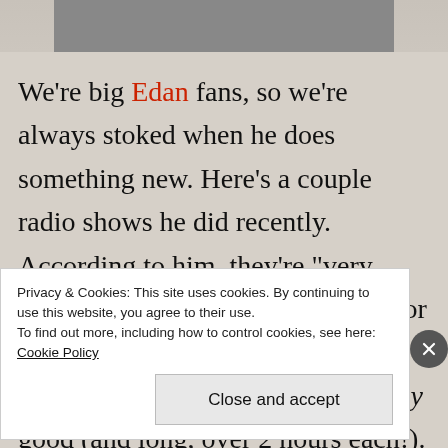[Figure (photo): Partial photo of people, cropped at the top of the page]
We're big Edan fans, so we're always stoked when he does something new. Here's a couple radio shows he did recently. According to him, they're "very casual". Show 1 has been around for a while; show 2 was recorded a couple months back. Both are really good (and long, over 2 hours each!). Part 2 is flooded with some of my favorite songs ever. Supposedly, there will be more of these radio shows to come. For now, check these
Privacy & Cookies: This site uses cookies. By continuing to use this website, you agree to their use.
To find out more, including how to control cookies, see here: Cookie Policy
Close and accept